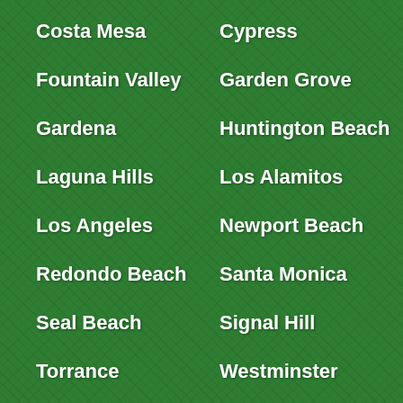Costa Mesa
Cypress
Fountain Valley
Garden Grove
Gardena
Huntington Beach
Laguna Hills
Los Alamitos
Los Angeles
Newport Beach
Redondo Beach
Santa Monica
Seal Beach
Signal Hill
Torrance
Westminster